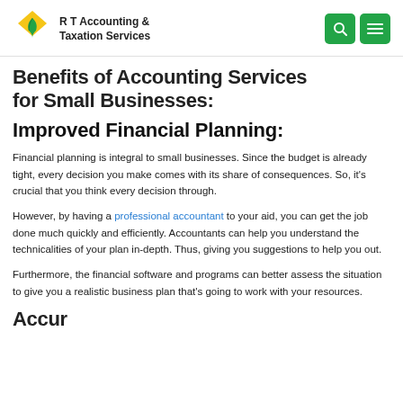R T Accounting & Taxation Services
Benefits of Accounting Services for Small Businesses:
Improved Financial Planning:
Financial planning is integral to small businesses. Since the budget is already tight, every decision you make comes with its share of consequences. So, it's crucial that you think every decision through.
However, by having a professional accountant to your aid, you can get the job done much quickly and efficiently. Accountants can help you understand the technicalities of your plan in-depth. Thus, giving you suggestions to help you out.
Furthermore, the financial software and programs can better assess the situation to give you a realistic business plan that's going to work with your resources.